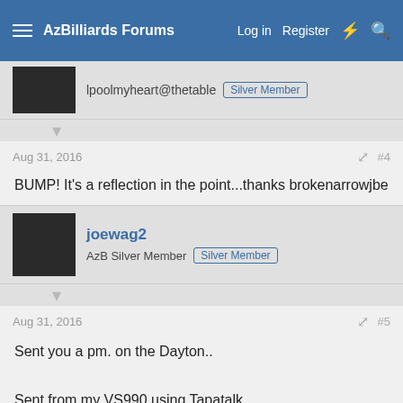AzBilliards Forums | Log in | Register
lpoolmyheart@thetable Silver Member
Aug 31, 2016 #4
BUMP! It's a reflection in the point...thanks brokenarrowjbe
joewag2 | AzB Silver Member | Silver Member
Aug 31, 2016 #5
Sent you a pm. on the Dayton..

Sent from my VS990 using Tapatalk
devorator | lpoolmyheart@thetable | Silver Member